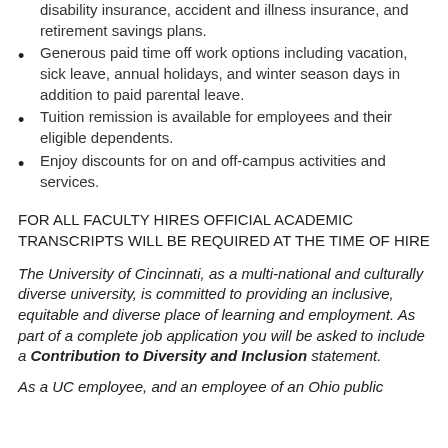disability insurance, accident and illness insurance, and retirement savings plans.
Generous paid time off work options including vacation, sick leave, annual holidays, and winter season days in addition to paid parental leave.
Tuition remission is available for employees and their eligible dependents.
Enjoy discounts for on and off-campus activities and services.
FOR ALL FACULTY HIRES OFFICIAL ACADEMIC TRANSCRIPTS WILL BE REQUIRED AT THE TIME OF HIRE
The University of Cincinnati, as a multi-national and culturally diverse university, is committed to providing an inclusive, equitable and diverse place of learning and employment. As part of a complete job application you will be asked to include a Contribution to Diversity and Inclusion statement.
As a UC employee, and an employee of an Ohio public